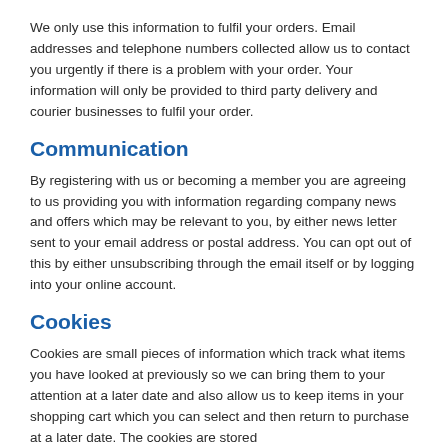We only use this information to fulfil your orders. Email addresses and telephone numbers collected allow us to contact you urgently if there is a problem with your order. Your information will only be provided to third party delivery and courier businesses to fulfil your order.
Communication
By registering with us or becoming a member you are agreeing to us providing you with information regarding company news and offers which may be relevant to you, by either news letter sent to your email address or postal address. You can opt out of this by either unsubscribing through the email itself or by logging into your online account.
Cookies
Cookies are small pieces of information which track what items you have looked at previously so we can bring them to your attention at a later date and also allow us to keep items in your shopping cart which you can select and then return to purchase at a later date. The cookies are stored